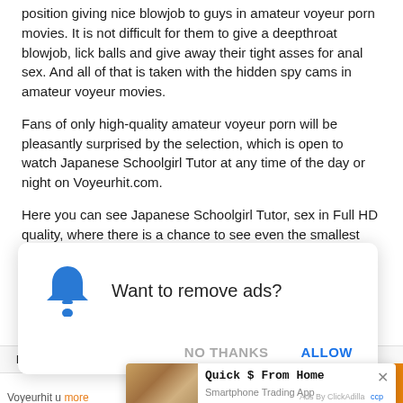position giving nice blowjob to guys in amateur voyeur porn movies. It is not difficult for them to give a deepthroat blowjob, lick balls and give away their tight asses for anal sex. And all of that is taken with the hidden spy cams in amateur voyeur movies.
Fans of only high-quality amateur voyeur porn will be pleasantly surprised by the selection, which is open to watch Japanese Schoolgirl Tutor at any time of the day or night on Voyeurhit.com.
Here you can see Japanese Schoolgirl Tutor, sex in Full HD quality, where there is a chance to see even the smallest detail of the body of a beautiful blonde or brunette or a guy in amateur voyeur porn.
[Figure (screenshot): Browser notification permission popup with bell icon asking 'Want to remove ads?' with NO THANKS and ALLOW buttons]
Hacked Ip Camera   Hidden Camera   Drunk
Hidden
Indian
[Figure (screenshot): Advertisement popup for 'Quick $ From Home - Smartphone Trading App' showing money image, with close button and Ads By ClickAdilla attribution]
Voyeurhit u   more